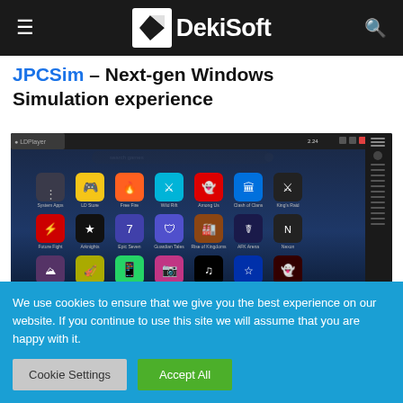DekiSoft
JPCSim – Next-gen Windows Simulation experience
[Figure (screenshot): Screenshot of LDPlayer Android emulator on Windows showing a grid of app icons including Free Fire, Wild Rift, Among Us, Clash of Clans, King's Raid, Future Fight, Arknights, Epic Seven, Guardian Tales, Rise of Kingdoms, AFK Arena, Nexon, WhatsApp, Instagram, TikTok, and other apps. Search bar visible at top. Side toolbar with various controls on right.]
We use cookies to ensure that we give you the best experience on our website. If you continue to use this site we will assume that you are happy with it.
Cookie Settings
Accept All